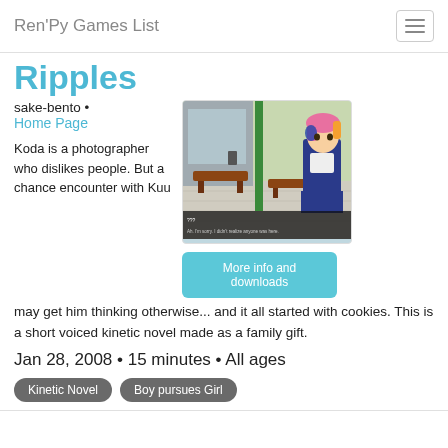Ren'Py Games List
Ripples
sake-bento • Home Page
[Figure (screenshot): Visual novel screenshot showing an anime-style girl with pink hair and headphones in a school courtyard scene with benches and a green pole. Dialogue text reads '??? Ah. I'm sorry. I didn't realize anyone was here.']
More info and downloads
Koda is a photographer who dislikes people. But a chance encounter with Kuu may get him thinking otherwise... and it all started with cookies. This is a short voiced kinetic novel made as a family gift.
Jan 28, 2008 • 15 minutes • All ages
Kinetic Novel
Boy pursues Girl